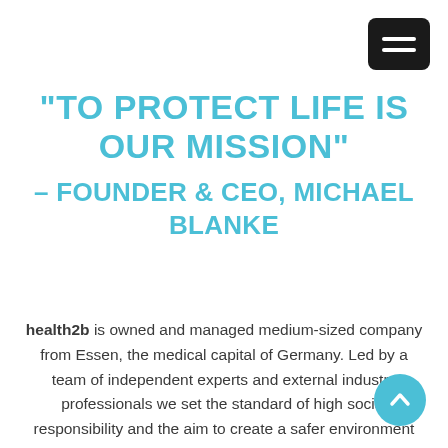[Figure (other): Hamburger menu button – black rounded rectangle with two white horizontal bars]
"TO PROTECT LIFE IS OUR MISSION" – FOUNDER & CEO, MICHAEL BLANKE
health2b is owned and managed medium-sized company from Essen, the medical capital of Germany. Led by a team of independent experts and external industry professionals we set the standard of high social responsibility and the aim to create a safer environment with all essential protective measures available for all people.
[Figure (other): Teal circular scroll-up button with upward chevron arrow]